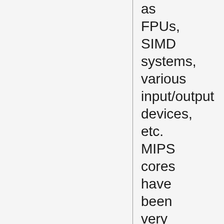as FPUs, SIMD systems, various input/output devices, etc. MIPS cores have been very successful, they form